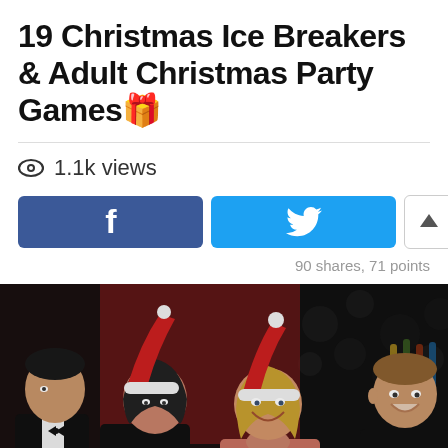19 Christmas Ice Breakers & Adult Christmas Party Games🎁
👁 1.1k views
[Figure (screenshot): Facebook share button (blue), Twitter share button (cyan), upvote button (arrow up), downvote button (arrow down)]
90 shares, 71 points
[Figure (photo): Four young adults at a Christmas party wearing Santa hats, laughing and holding champagne glasses, festive setting with decorations and bottles in background]